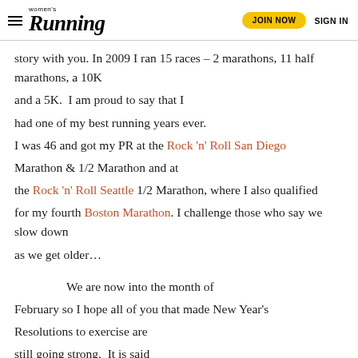women's Running | JOIN NOW | SIGN IN
story with you. In 2009 I ran 15 races – 2 marathons, 11 half marathons, a 10K and a 5K.  I am proud to say that I had one of my best running years ever. I was 46 and got my PR at the Rock 'n' Roll San Diego Marathon & 1/2 Marathon and at the Rock 'n' Roll Seattle 1/2 Marathon, where I also qualified for my fourth Boston Marathon. I challenge those who say we slow down as we get older…
We are now into the month of February so I hope all of you that made New Year's Resolutions to exercise are still going strong.  It is said that if you do something for four weeks straight you are more